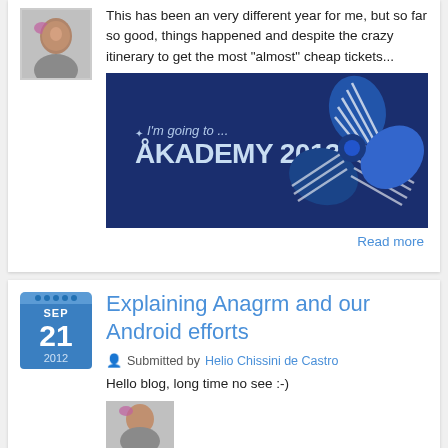This has been an very different year for me, but so far so good, things happened and despite the crazy itinerary to get the most "almost" cheap tickets...
[Figure (illustration): Akademy 2013 promotional banner with dark blue background, KDE gear/windmill logo in blue stripes, text reads "I'm going to ... AKADEMY 2013"]
Read more
Explaining Anagrm and our Android efforts
Submitted by Helio Chissini de Castro
Hello blog, long time no see :-)